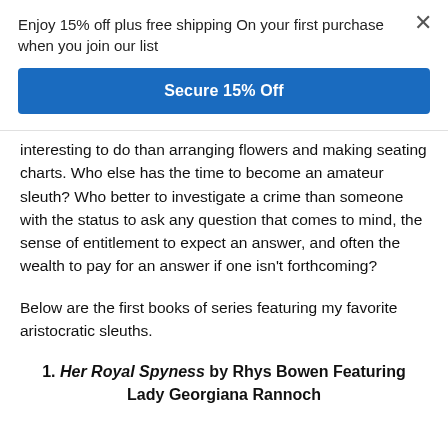Enjoy 15% off plus free shipping On your first purchase when you join our list
Secure 15% Off
interesting to do than arranging flowers and making seating charts. Who else has the time to become an amateur sleuth? Who better to investigate a crime than someone with the status to ask any question that comes to mind, the sense of entitlement to expect an answer, and often the wealth to pay for an answer if one isn't forthcoming?
Below are the first books of series featuring my favorite aristocratic sleuths.
1. Her Royal Spyness by Rhys Bowen Featuring Lady Georgiana Rannoch